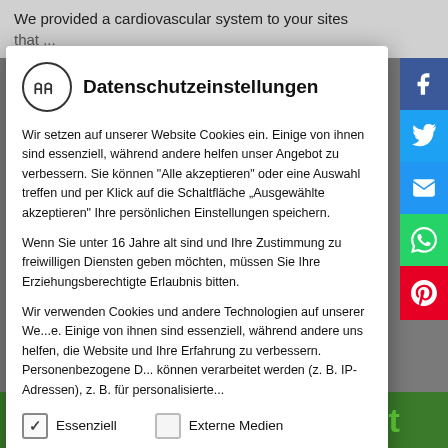We provided a cardiovascular system to your sites that...
[Figure (screenshot): Cookie consent / Datenschutzeinstellungen modal dialog with HH logo, German privacy text, checkboxes for Essenziell and Externe Medien, and social media share buttons (Facebook, Twitter, Email, WhatsApp, Pinterest) on the right side]
several months if not